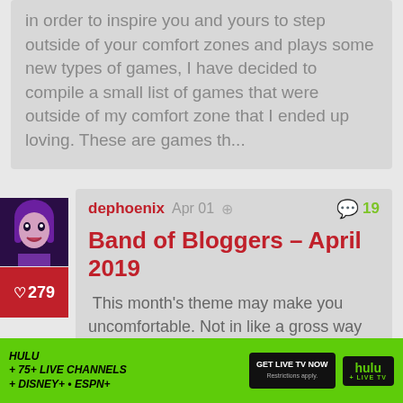of your comfort zones and plays some new types of games, I have decided to compile a small list of games that were outside of my comfort zone that I ended up loving. These are games th...
[Figure (illustration): Avatar image of user dephoenix - stylized female character with purple hair]
♡279
dephoenix  Apr 01  🔗  💬 19
Band of Bloggers - April 2019
This month's theme may make you uncomfortable. Not in like a gross way or anything. Just sort of slightly uncomfortable...
[Figure (infographic): Hulu advertisement banner: HULU + 75+ LIVE CHANNELS + DISNEY+ + ESPN+ GET LIVE TV NOW / Restrictions apply. hulu + LIVE TV]